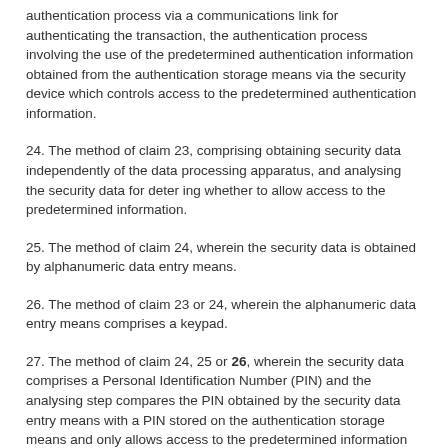authentication process via a communications link for authenticating the transaction, the authentication process involving the use of the predetermined authentication information obtained from the authentication storage means via the security device which controls access to the predetermined authentication information.
24. The method of claim 23, comprising obtaining security data independently of the data processing apparatus, and analysing the security data for deter ing whether to allow access to the predetermined information.
25. The method of claim 24, wherein the security data is obtained by alphanumeric data entry means.
26. The method of claim 23 or 24, wherein the alphanumeric data entry means comprises a keypad.
27. The method of claim 24, 25 or 26, wherein the security data comprises a Personal Identification Number (PIN) and the analysing step compares the PIN obtained by the security data entry means with a PIN stored on the authentication storage means and only allows access to the predetermined information when the respective PINs match.